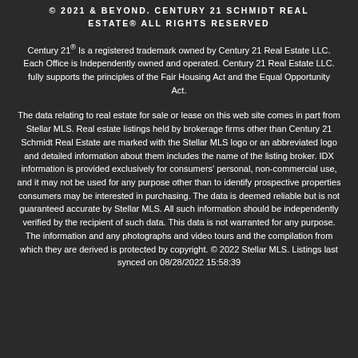© 2021 & BEYOND. CENTURY 21 SCHMIDT REAL ESTATE® ALL RIGHTS RESERVED
Century 21® Is a registered trademark owned by Century 21 Real Estate LLC. Each Office is Independently owned and operated. Century 21 Real Estate LLC. fully supports the principles of the Fair Housing Act and the Equal Opportunity Act.
The data relating to real estate for sale or lease on this web site comes in part from Stellar MLS. Real estate listings held by brokerage firms other than Century 21 Schmidt Real Estate are marked with the Stellar MLS logo or an abbreviated logo and detailed information about them includes the name of the listing broker. IDX information is provided exclusively for consumers' personal, non-commercial use, and it may not be used for any purpose other than to identify prospective properties consumers may be interested in purchasing. The data is deemed reliable but is not guaranteed accurate by Stellar MLS. All such information should be independently verified by the recipient of such data. This data is not warranted for any purpose. The information and any photographs and video tours and the compilation from which they are derived is protected by copyright. © 2022 Stellar MLS. Listings last synced on 08/28/2022 15:58:39